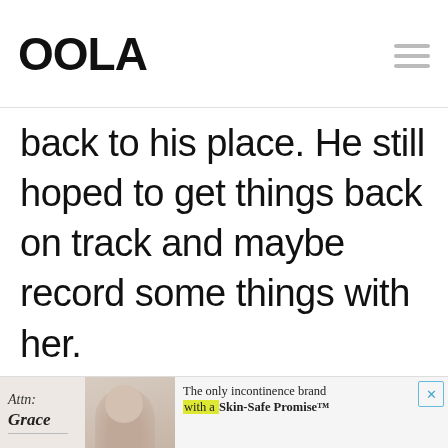OOLA
back to his place. He still hoped to get things back on track and maybe record some things with her.
- ADVERTISEMENT - CONTINUE READING BELOW -
[Figure (other): Advertisement banner for incontinence brand featuring text 'Attn: Grace', a photo of a person, and text 'The only incontinence brand with a Skin-Safe Promise™' with yellow highlight, and a close button.]